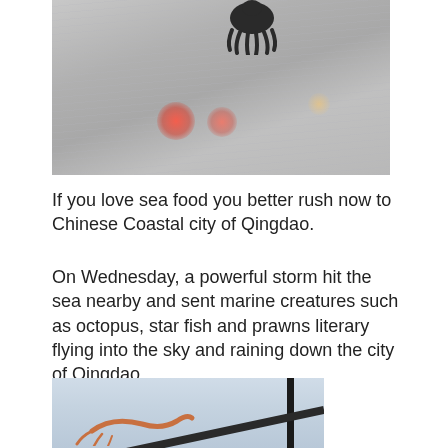[Figure (photo): Rainy foggy scene viewed through a wet windshield or window, with red traffic lights glowing through the haze and a dark octopus-like silhouette at the top]
If you love sea food you better rush now to Chinese Coastal city of Qingdao.
On Wednesday, a powerful storm hit the sea nearby and sent marine creatures such as octopus, star fish and prawns literary flying into the sky and raining down the city of Qingdao.
[Figure (photo): A prawn or shrimp hanging on a wire or cable outdoors, with a diagonal pole or bar visible against a pale sky]